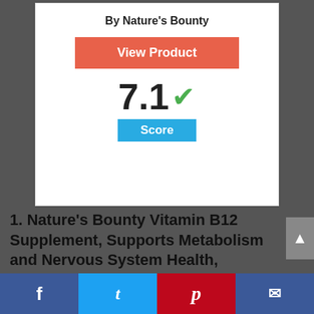By Nature's Bounty
[Figure (other): Orange 'View Product' button]
7.1 ✓ Score
1. Nature's Bounty Vitamin B12 Supplement, Supports Metabolism and Nervous System Health, 1000mcg, 60 Tablets
Social share bar: Facebook, Twitter, Pinterest, Email